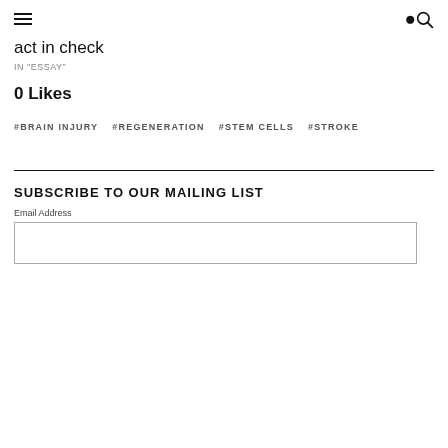act in check
IN "ESSAY"
0 Likes
#BRAIN INJURY   #REGENERATION   #STEM CELLS   #STROKE
SUBSCRIBE TO OUR MAILING LIST
Email Address